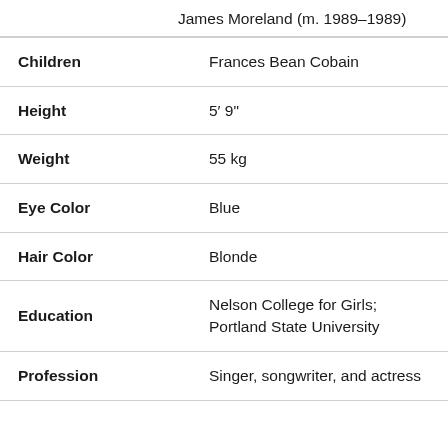|  | James Moreland (m. 1989–1989) |
| Children | Frances Bean Cobain |
| Height | 5′ 9″ |
| Weight | 55 kg |
| Eye Color | Blue |
| Hair Color | Blonde |
| Education | Nelson College for Girls; Portland State University |
| Profession | Singer, songwriter, and actress |